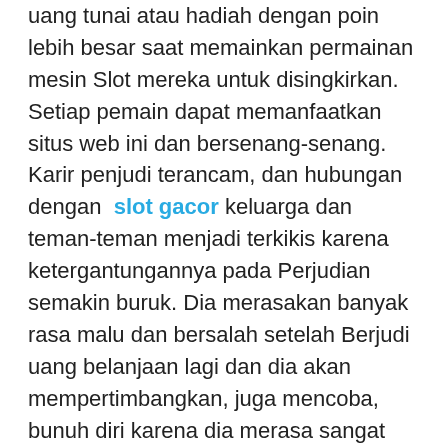uang tunai atau hadiah dengan poin lebih besar saat memainkan permainan mesin Slot mereka untuk disingkirkan. Setiap pemain dapat memanfaatkan situs web ini dan bersenang-senang. Karir penjudi terancam, dan hubungan dengan slot gacor keluarga dan teman-teman menjadi terkikis karena ketergantungannya pada Perjudian semakin buruk. Dia merasakan banyak rasa malu dan bersalah setelah Berjudi uang belanjaan lagi dan dia akan mempertimbangkan, juga mencoba, bunuh diri karena dia merasa sangat tidak berdaya dan tidak berguna. Meskipun, jackpot pada dasarnya besar sebagai mesin slot progresif, ini masih mesin yang Anda hanya ingin tinggal jauh dari. Mesin progresif menerima peluang paling tipis untuk sukses. Anda tidak perlu menjauh dari semua mesin progresif, sementara. Anda masih bisa mendapatkan beberapa sangat lama seperti yang Anda